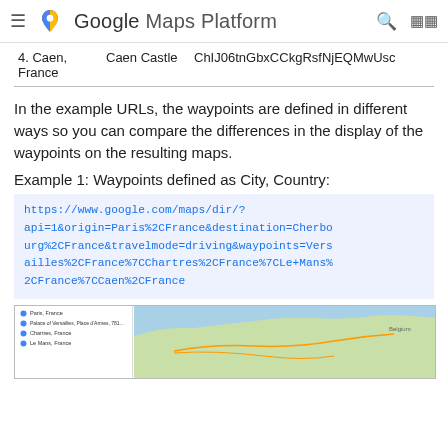Google Maps Platform
| 4. Caen, France | Caen Castle | ChIJ06tnGbxCCkgRsfNjEQMwUsc |
In the example URLs, the waypoints are defined in different ways so you can compare the differences in the display of the waypoints on the resulting maps.
Example 1: Waypoints defined as City, Country:
https://www.google.com/maps/dir/?api=1&origin=Paris%2CFrance&destination=Cherbourg%2CFrance&travelmode=driving&waypoints=Versailles%2CFrance%7CChartres%2CFrance%7CLe+Mans%2CFrance%7CCaen%2CFrance
[Figure (screenshot): Screenshot of a Google Maps showing a route through France with sidebar listing waypoints including Paris, France; Palace of Versailles; Chartres, France; and Le Mans, France, with the map showing northern France and the English Channel.]